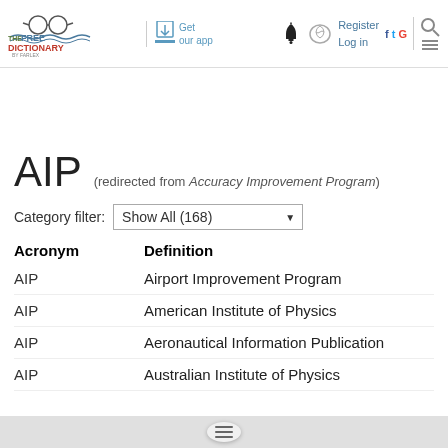[Figure (logo): The Free Dictionary by Farlex logo with glasses icon]
AIP (redirected from Accuracy Improvement Program)
Category filter: Show All (168)
| Acronym | Definition |
| --- | --- |
| AIP | Airport Improvement Program |
| AIP | American Institute of Physics |
| AIP | Aeronautical Information Publication |
| AIP | Australian Institute of Physics |